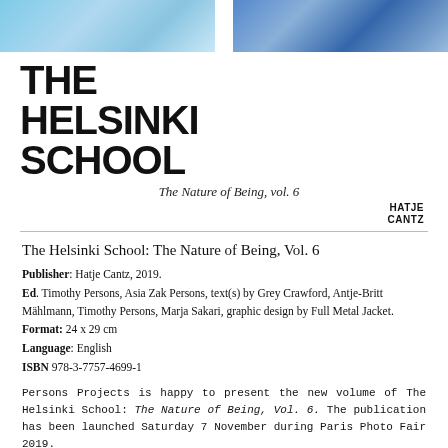[Figure (illustration): Top banner with two photographic panels side by side, showing colorful underwater or nature imagery in blue and teal tones, separated by a white dividing line.]
THE HELSINKI SCHOOL
The Nature of Being, vol. 6
HATJE CANTZ
The Helsinki School: The Nature of Being, Vol. 6
Publisher: Hatje Cantz, 2019.
Ed. Timothy Persons, Asia Zak Persons, text(s) by Grey Crawford, Antje-Britt Mählmann, Timothy Persons, Marja Sakari, graphic design by Full Metal Jacket.
Format: 24 x 29 cm
Language: English
ISBN 978-3-7757-4699-1
Persons Projects is happy to present the new volume of The Helsinki School: The Nature of Being, Vol. 6. The publication has been launched Saturday 7 November during Paris Photo Fair 2019.